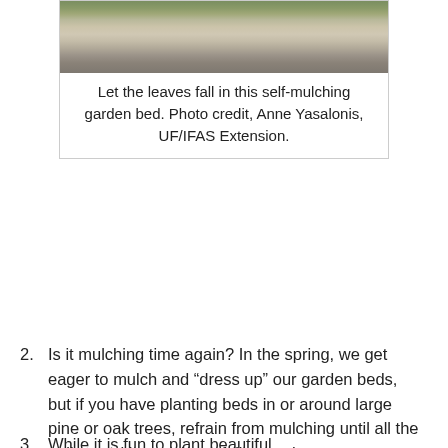[Figure (photo): Photo of a self-mulching garden bed with fallen leaves among plants and gravel.]
Let the leaves fall in this self-mulching garden bed. Photo credit, Anne Yasalonis, UF/IFAS Extension.
Is it mulching time again? In the spring, we get eager to mulch and “dress up” our garden beds, but if you have planting beds in or around large pine or oak trees, refrain from mulching until all the pollen and leaves have fallen so that your new layer of mulch is not covered. Bonus: you can even use the fallen leaves and needles as mulch!
While it is fun to plant beautiful